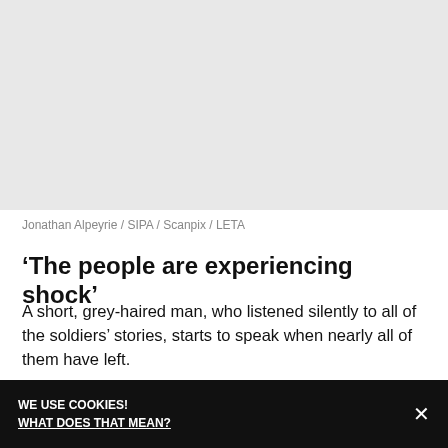[Figure (photo): Light grey placeholder image area for a photo]
Jonathan Alpeyrie / SIPA / Scanpix / LETA
‘The people are experiencing shock’
A short, grey-haired man, who listened silently to all of the soldiers’ stories, starts to speak when nearly all of them have left.
WE USE COOKIES! WHAT DOES THAT MEAN?